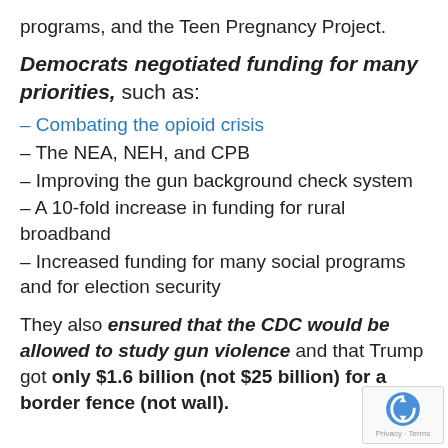programs, and the Teen Pregnancy Project.
Democrats negotiated funding for many priorities, such as:
– Combating the opioid crisis
– The NEA, NEH, and CPB
– Improving the gun background check system
– A 10-fold increase in funding for rural broadband
– Increased funding for many social programs and for election security
They also ensured that the CDC would be allowed to study gun violence and that Trump got only $1.6 billion (not $25 billion) for a border fence (not wall).